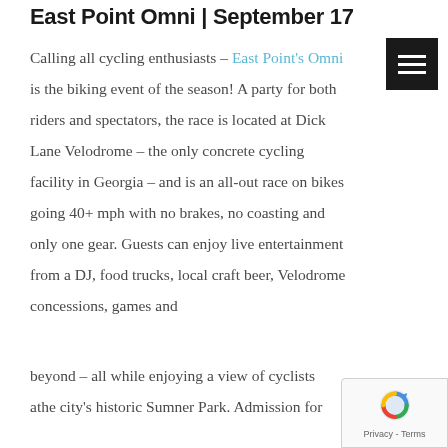East Point Omni | September 17
Calling all cycling enthusiasts – East Point's Omni is the biking event of the season! A party for both riders and spectators, the race is located at Dick Lane Velodrome – the only concrete cycling facility in Georgia – and is an all-out race on bikes going 40+ mph with no brakes, no coasting and only one gear. Guests can enjoy live entertainment from a DJ, food trucks, local craft beer, Velodrome concessions, games and beyond – all while enjoying a view of cyclists at the city's historic Sumner Park. Admission for